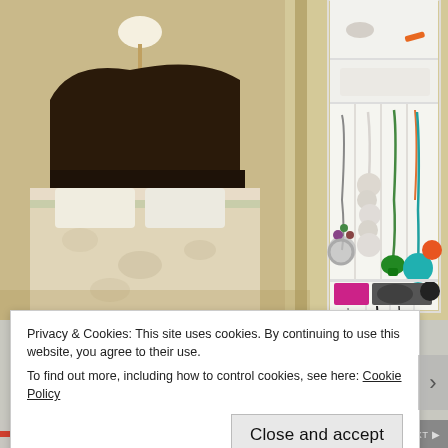[Figure (photo): Photo of a bedroom with a jewelry organizer. On the left side is a bedroom with a bed with floral bedding, a bedside table with a lamp, and a headboard. On the right side is a white cabinet organizer affixed to the inside of what appears to be a closet door or wall, displaying hanging necklaces, bracelets, and other jewelry neatly organized in individual compartments.]
Privacy & Cookies: This site uses cookies. By continuing to use this website, you agree to their use.
To find out more, including how to control cookies, see here: Cookie Policy
Close and accept